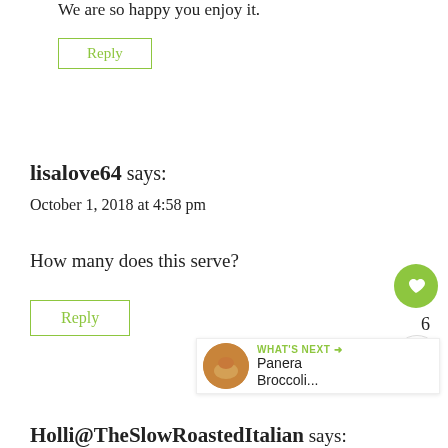We are so happy you enjoy it.
Reply
lisalove64 says:
October 1, 2018 at 4:58 pm
How many does this serve?
Reply
WHAT'S NEXT → Panera Broccoli...
Holli@TheSlowRoastedItalian says: